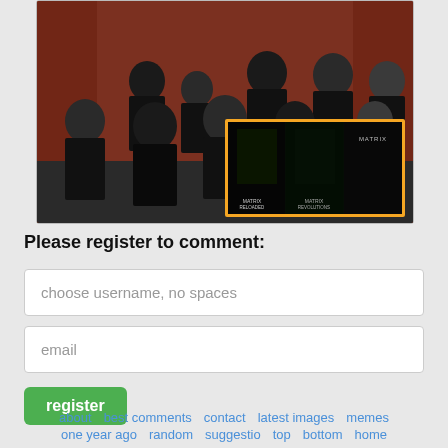[Figure (photo): Photo of Supreme Court justices in black robes with an overlaid image of Matrix movie posters (Matrix Reloaded, Matrix Revolutions, Matrix) framed in an orange border]
Please register to comment:
choose username, no spaces
email
register
about   best comments   contact   latest images   memes   one year ago   random   suggestion   top   bottom   home